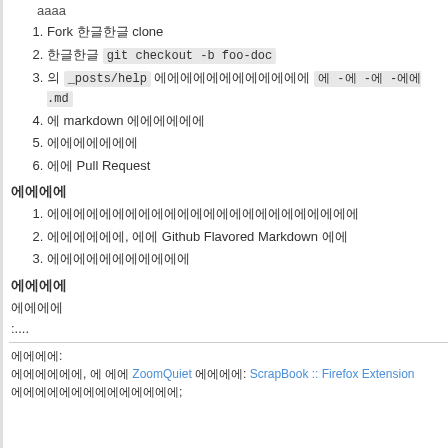aaaa
1. Fork 한글 clone
2. 한글한글 git checkout -b foo-doc
3. 의 _posts/help 에에에에에에에에에에에에 에 -에 -에 -에에 .md
4. 에 markdown 에에에에에에
5. 에에에에에에에
6. 에에 Pull Request
에에에에
1. 에에에에에에에에에에에에에에에에에에에에에에
2. 에에에에에에, 에에 Github Flavored Markdown 에에
3. 에에에에에에에에에에에
에에에에
에에에에
:....
에에에에: 에에에에에에, 에 에에 ZoomQuiet 에에에에: ScrapBook :: Firefox Extension 에에에에에에에에에에에;